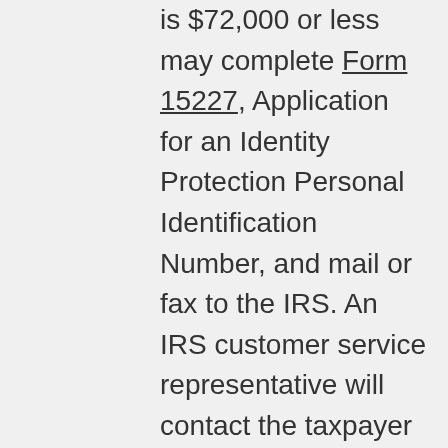is $72,000 or less may complete Form 15227, Application for an Identity Protection Personal Identification Number, and mail or fax to the IRS. An IRS customer service representative will contact the taxpayer and verify their identities by phone. Taxpayers should have their prior year tax return at hand for the verification process.
Taxpayers who verify their identities through this process will have an IP PIN mailed to them the following tax year. This is for security reasons. Once in the program, the IP PIN will be mailed to these taxpayers each year. Taxpayers who cannot verify their identities online or by phone and who are ineligible for file Form 15227 can contact the IRS and make an appointment at a Taxpayer Assistance Center to verify their identities in person. Taxpayers should bring two forms of identification, including one government-